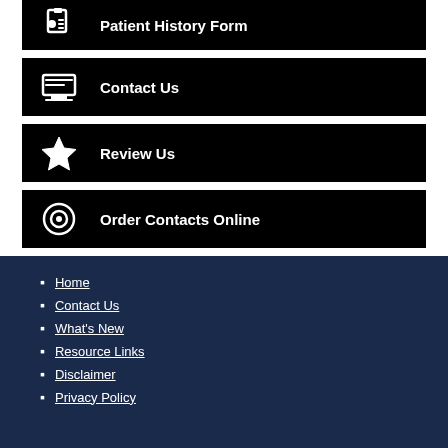Patient History Form
Contact Us
Review Us
Order Contacts Online
Home
Contact Us
What's New
Resource Links
Disclaimer
Privacy Policy